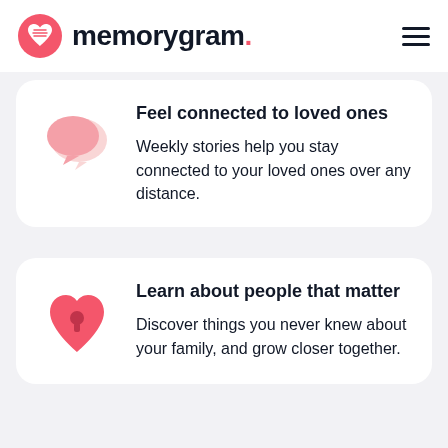memorygram.
Feel connected to loved ones
Weekly stories help you stay connected to your loved ones over any distance.
Learn about people that matter
Discover things you never knew about your family, and grow closer together.